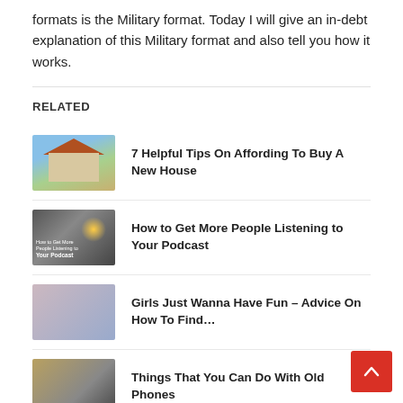formats is the Military format. Today I will give an in-debt explanation of this Military format and also tell you how it works.
RELATED
7 Helpful Tips On Affording To Buy A New House
How to Get More People Listening to Your Podcast
Girls Just Wanna Have Fun – Advice On How To Find…
Things That You Can Do With Old Phones